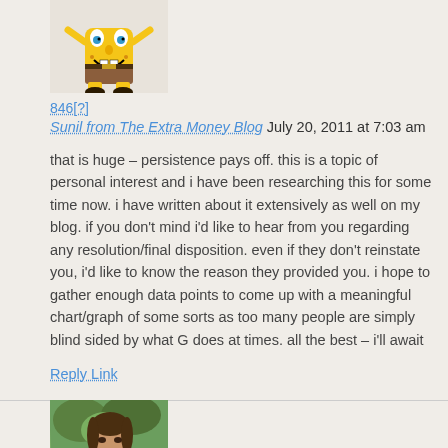[Figure (illustration): Spongebob SquarePants cartoon character avatar at top]
846[?]
Sunil from The Extra Money Blog July 20, 2011 at 7:03 am
that is huge – persistence pays off. this is a topic of personal interest and i have been researching this for some time now. i have written about it extensively as well on my blog. if you don't mind i'd like to hear from you regarding any resolution/final disposition. even if they don't reinstate you, i'd like to know the reason they provided you. i hope to gather enough data points to come up with a meaningful chart/graph of some sorts as too many people are simply blind sided by what G does at times. all the best – i'll await
Reply Link
[Figure (photo): Person's photo avatar partially visible at bottom]